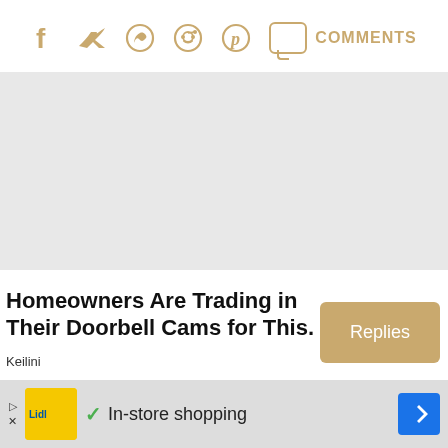[Figure (other): Social sharing icons row: Facebook, Twitter, WhatsApp, Reddit, Pinterest, Comments speech bubble with COMMENTS label, all in tan/gold color]
[Figure (other): Gray advertisement placeholder area]
Homeowners Are Trading in Their Doorbell Cams for This.
Keilini
Replies
RELATED POSTS
[Figure (other): Bottom advertisement banner: Lidl logo, checkmark, In-store shopping text, navigation arrow icon, ad skip controls]